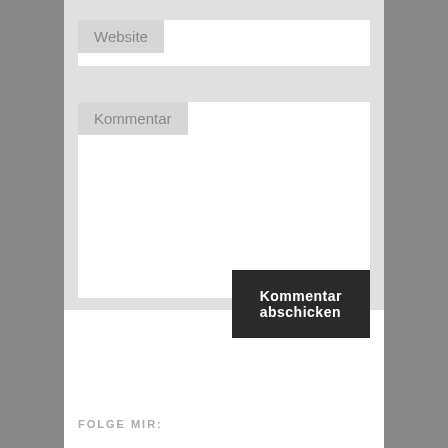[Figure (screenshot): Web form with Website label and input field, Kommentar label and textarea, Kommentar abschicken submit button, and FOLGE MIR: footer text]
Website
Kommentar
Kommentar abschicken
FOLGE MIR: